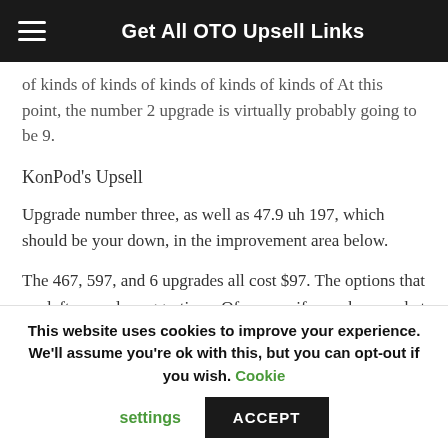Get All OTO Upsell Links
of kinds of kinds of kinds of kinds of kinds of At this point, the number 2 upgrade is virtually probably going to be 9.
KonPod's Upsell
Upgrade number three, as well as 47.9 uh 197, which should be your down, in the improvement area below.
The 467, 597, and 6 upgrades all cost $97. The options that are left are only suggestions. Of course, if you choose what is used on you, you will receive exactly that, and you are well aware of the consequences. Ecommerce and affiliate marketing benefit from automating this on your website, as
This website uses cookies to improve your experience. We'll assume you're ok with this, but you can opt-out if you wish. Cookie settings ACCEPT